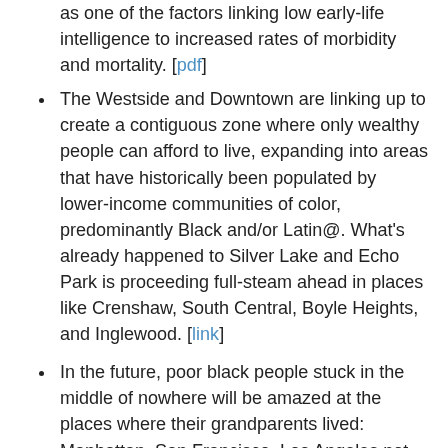as one of the factors linking low early-life intelligence to increased rates of morbidity and mortality. [pdf]
The Westside and Downtown are linking up to create a contiguous zone where only wealthy people can afford to live, expanding into areas that have historically been populated by lower-income communities of color, predominantly Black and/or Latin@. What's already happened to Silver Lake and Echo Park is proceeding full-steam ahead in places like Crenshaw, South Central, Boyle Heights, and Inglewood. [link]
In the future, poor black people stuck in the middle of nowhere will be amazed at the places where their grandparents lived: Manhattan, San Francisco, Los Angeles not far from the beach, Chicago's lakefront, the nation's capital, etc. [Sailer]
Arguably the biggest fraud of the early part of the twentieth century was the selling of the First